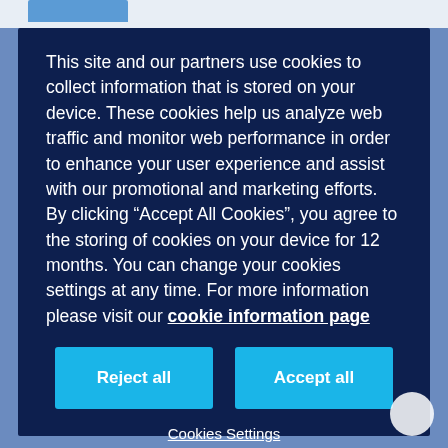This site and our partners use cookies to collect information that is stored on your device. These cookies help us analyze web traffic and monitor web performance in order to enhance your user experience and assist with our promotional and marketing efforts. By clicking “Accept All Cookies”, you agree to the storing of cookies on your device for 12 months. You can change your cookies settings at any time. For more information please visit our cookie information page
Reject all
Accept all
Cookies Settings